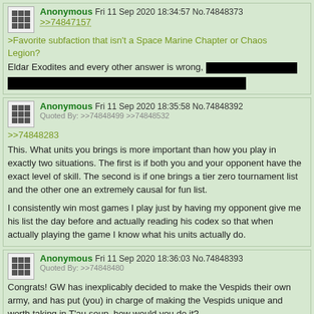Anonymous Fri 11 Sep 2020 18:34:57 No.74848373 >>74847157 >Favorite subfaction that isn't a Space Marine Chapter or Chaos Legion? Eldar Exodites and every other answer is wrong, [redacted] [redacted]
Anonymous Fri 11 Sep 2020 18:35:58 No.74848392 Quoted By: >>74848499 >>74848532 >>74848283 This. What units you brings is more important than how you play in exactly two situations. The first is if both you and your opponent have the exact level of skill. The second is if one brings a tier zero tournament list and the other one an extremely causal for fun list. I consistently win most games I play just by having my opponent give me his list the day before and actually reading his codex so that when actually playing the game I know what his units actually do.
Anonymous Fri 11 Sep 2020 18:36:03 No.74848393 Quoted By: >>74848480 Congrats! GW has inexplicably decided to make the Vespids their own army, and has put (you) in charge of making the Vespids unique and worth taking in T'au soup, how would you do it?